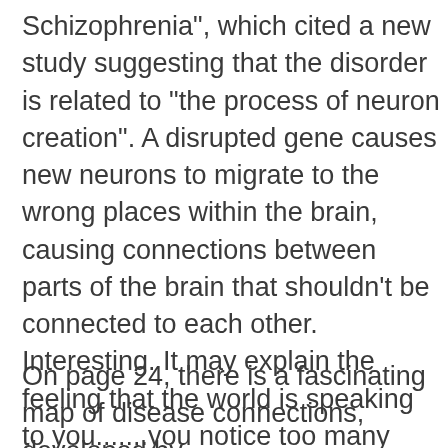Schizophrenia", which cited a new study suggesting that the disorder is related to "the process of neuron creation". A disrupted gene causes new neurons to migrate to the wrong places within the brain, causing connections between parts of the brain that shouldn't be connected to each other. Interesting. It may explain the feeling that the world is speaking to you.......you notice too many little things in the world around you and you take them too personally. Your brain simply has mixed up wiring. But, then again, maybe some of the greatest human creativity over the ages can be attributed to mixed up brain wiring.
On page 24, there is a fascinating map of disease connections, developed by